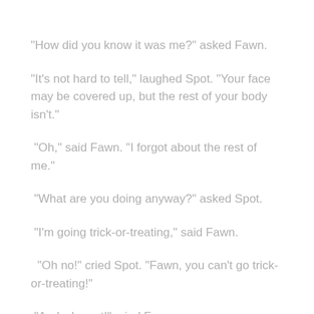"How did you know it was me?" asked Fawn.
"It's not hard to tell," laughed Spot. "Your face may be covered up, but the rest of your body isn't."
"Oh," said Fawn. "I forgot about the rest of me."
"What are you doing anyway?" asked Spot.
"I'm going trick-or-treating," said Fawn.
"Oh no!" cried Spot. "Fawn, you can't go trick-or-treating!"
"And why not!" cried Fawn.